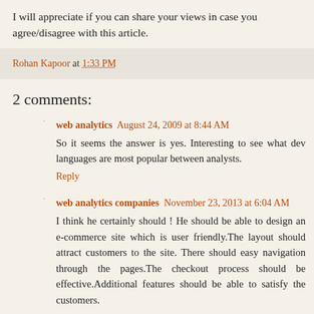I will appreciate if you can share your views in case you agree/disagree with this article.
Rohan Kapoor at 1:33 PM
2 comments:
web analytics  August 24, 2009 at 8:44 AM
So it seems the answer is yes. Interesting to see what dev languages are most popular between analysts.
Reply
web analytics companies  November 23, 2013 at 6:04 AM
I think he certainly should ! He should be able to design an e-commerce site which is user friendly.The layout should attract customers to the site. There should easy navigation through the pages.The checkout process should be effective.Additional features should be able to satisfy the customers.